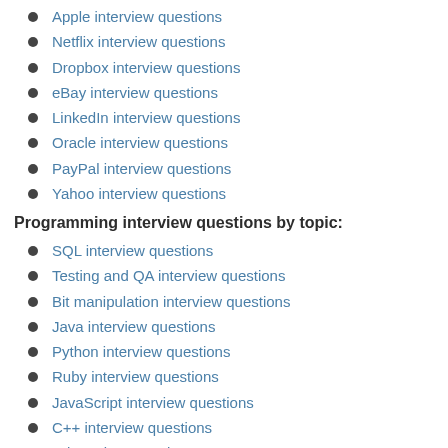Apple interview questions
Netflix interview questions
Dropbox interview questions
eBay interview questions
LinkedIn interview questions
Oracle interview questions
PayPal interview questions
Yahoo interview questions
Programming interview questions by topic:
SQL interview questions
Testing and QA interview questions
Bit manipulation interview questions
Java interview questions
Python interview questions
Ruby interview questions
JavaScript interview questions
C++ interview questions
C interview questions
Swift interview questions
Objective-C interview questions
PHP interview questions
C# interview questions